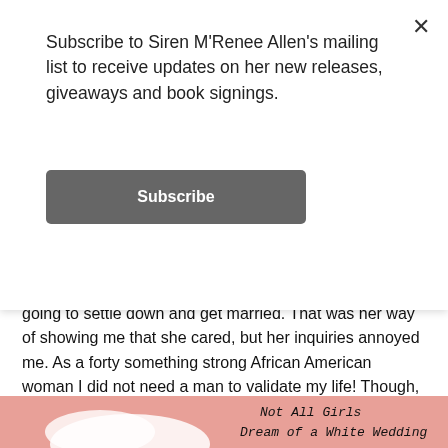Subscribe to Siren M'Renee Allen's mailing list to receive updates on her new releases, giveaways and book signings.
Subscribe
going to settle down and get married. That was her way of showing me that she cared, but her inquiries annoyed me. As a forty something strong African American woman I did not need a man to validate my life! Though, if I was being honest, I definitely want one sometimes.
[Figure (illustration): Book cover image for 'Not All Girls Dream of a White Wedding' showing white shoes on a peach/salmon colored background with handwritten-style title text]